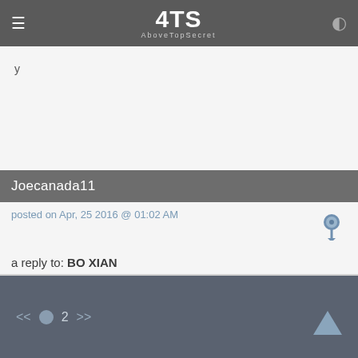4TS AboveTopSecret
y
Joecanada11
posted on Apr, 25 2016 @ 01:02 AM
a reply to: BO XIAN
Which such folks would that be ? The "prosperity gospel" loons? Or the ones like Walid Shoebat who are making extraordinary claims about the supposed Muslim conversions?
<< • 2 >>